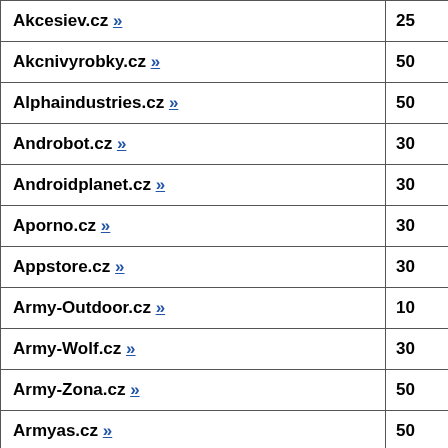| Name | Value |
| --- | --- |
| Akcesiev.cz » | 25 |
| Akcnivyrobky.cz » | 50 |
| Alphaindustries.cz » | 50 |
| Androbot.cz » | 30 |
| Androidplanet.cz » | 30 |
| Aporno.cz » | 30 |
| Appstore.cz » | 30 |
| Army-Outdoor.cz » | 10 |
| Army-Wolf.cz » | 30 |
| Army-Zona.cz » | 50 |
| Armyas.cz » | 50 |
| Armygunner.cz » | 50 |